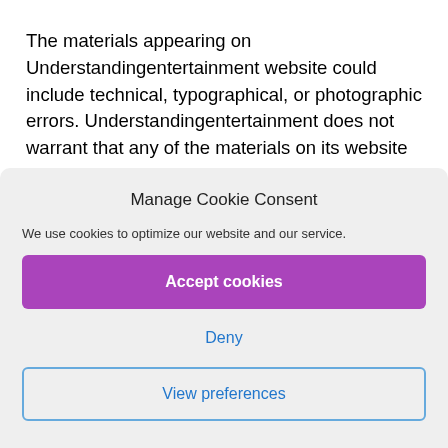The materials appearing on Understandingentertainment website could include technical, typographical, or photographic errors. Understandingentertainment does not warrant that any of the materials on its website are accurate, complete or current. Understandingentertainment may make
Manage Cookie Consent
We use cookies to optimize our website and our service.
Accept cookies
Deny
View preferences